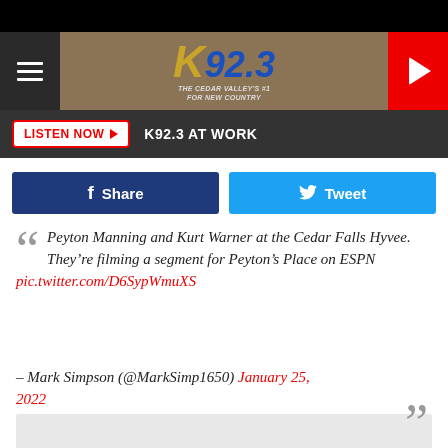[Figure (logo): K92.3 radio station header with hamburger menu, K92.3 logo, and red play button]
[Figure (screenshot): Listen Now button with K92.3 AT WORK label on dark bar]
[Figure (screenshot): Facebook Share button and Twitter Tweet button]
Peyton Manning and Kurt Warner at the Cedar Falls Hyvee. They’re filming a segment for Peyton’s Place on ESPN pic.twitter.com/D6SypWmuXS
– Mark Simpson (@MarkSimp1650) January 25, 2022